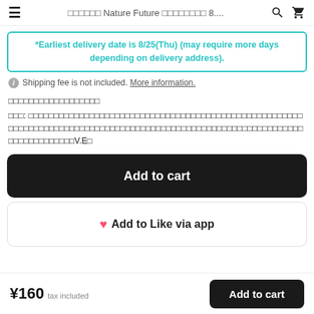≡  □□□□□□ Nature Future □□□□□□□□ 8....  🔍  🛒
*Earliest delivery date is 8/25(Thu) (may require more days depending on delivery address).
ⓘ Shipping fee is not included. More information.
□□□□□□□□□□□□□□□□□□
□□□: □□□□□□□□□□□□□□□□□□□□□□□□□□□□□□□□□□□□□□□□□□□□□□□□□□□□□□□□□□□□□□□□□□□□□□□□□□□□□□□□□□□□□□□□□□□□□□□□□□□□□□□□□□□□□□□□□□□□□□□□□□□□□V.E□
Add to cart
♥ Add to Like via app
¥160 tax included  Add to cart